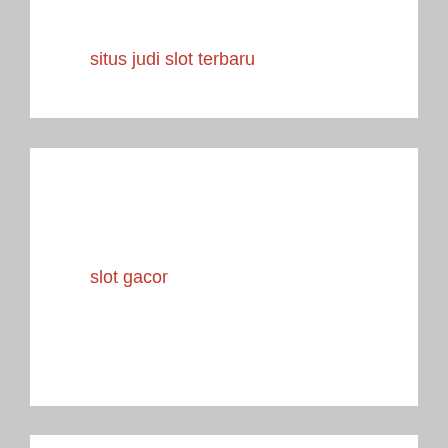situs judi slot terbaru
slot gacor
pragmatic88
bandarqq